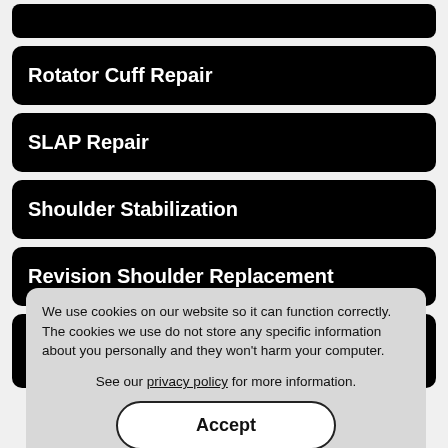Rotator Cuff Repair
SLAP Repair
Shoulder Stabilization
Revision Shoulder Replacement
Computer Navigation for Shoulder Replacement
Proximal Biceps Tenodesis
Latarjet Procedure
We use cookies on our website so it can function correctly. The cookies we use do not store any specific information about you personally and they won't harm your computer.

See our privacy policy for more information.
Accept